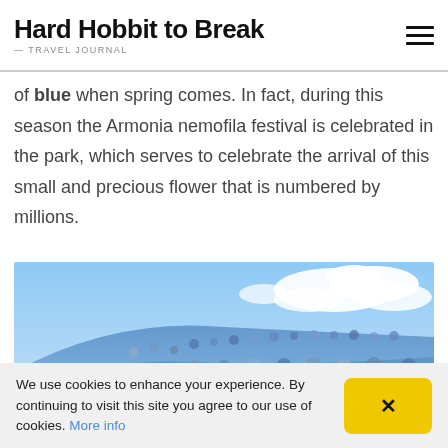Hard Hobbit to Break — TRAVEL JOURNAL
of blue when spring comes. In fact, during this season the Armonia nemofila festival is celebrated in the park, which serves to celebrate the arrival of this small and precious flower that is numbered by millions.
[Figure (photo): A hillside covered in millions of blue nemophila flowers stretching to the horizon under a bright blue sky with white clouds]
We use cookies to enhance your experience. By continuing to visit this site you agree to our use of cookies. More info